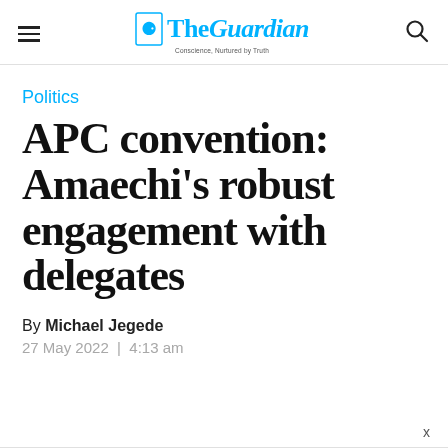The Guardian — Conscience, Nurtured by Truth
Politics
APC convention: Amaechi's robust engagement with delegates
By Michael Jegede
27 May 2022 | 4:13 am